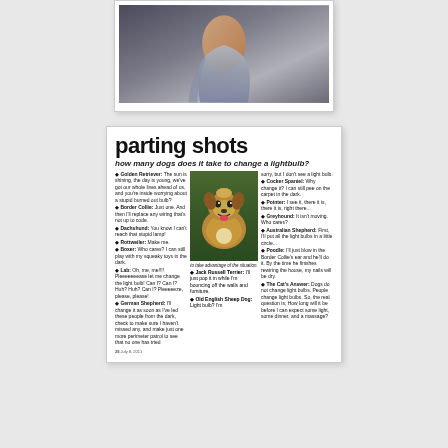[Figure (photo): Partial view of a person draped in light blue/grey fabric, artistic maternity or fashion style photo, dark grey background]
[Figure (photo): Newspaper clipping titled 'parting shots' with subtitle 'how many dogs does it take to change a lightbulb?' featuring humor text about different dog breeds answering the question, alongside a photo of a smiling collie/shepherd dog. Publication date July 8, 2011.]